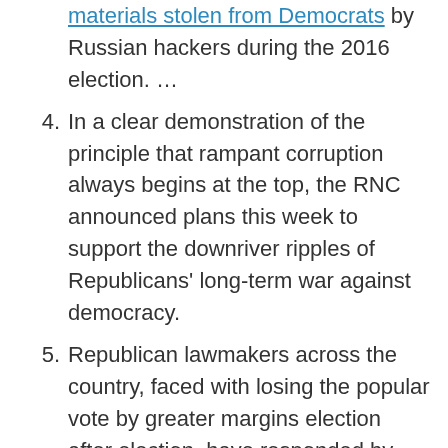materials stolen from Democrats by Russian hackers during the 2016 election. …
4. In a clear demonstration of the principle that rampant corruption always begins at the top, the RNC announced plans this week to support the downriver ripples of Republicans' long-term war against democracy.
5. Republican lawmakers across the country, faced with losing the popular vote by greater margins election after election, have responded by restricting access to the ballot before elections —